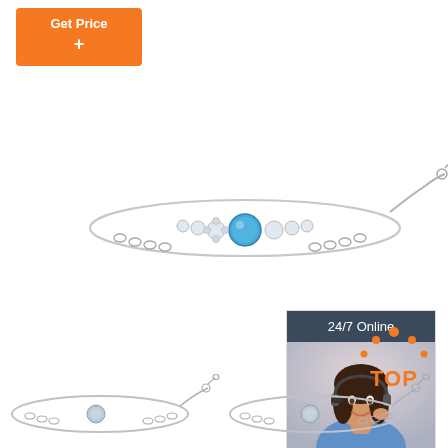[Figure (other): Orange 'Get Price' button in top left corner]
[Figure (photo): Silver chain bracelet with blue center gemstone and small crystal accents, shown on white background]
[Figure (infographic): 24/7 Online chat widget with customer service agent photo, 'Click here for free chat!' text and orange QUOTATION button]
[Figure (photo): Silver chain bracelet shown in bottom left, partial view]
[Figure (photo): Silver chain bracelet shown in bottom right, partial view]
[Figure (logo): TOP logo with orange dots arranged in arc above the word TOP in orange]